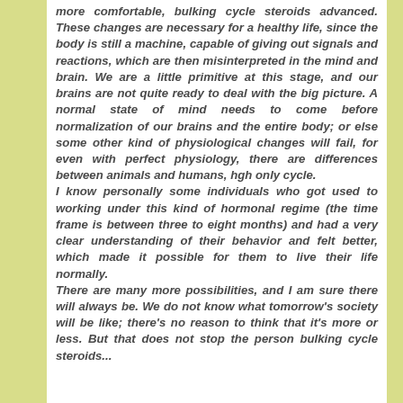more comfortable, bulking cycle steroids advanced. These changes are necessary for a healthy life, since the body is still a machine, capable of giving out signals and reactions, which are then misinterpreted in the mind and brain. We are a little primitive at this stage, and our brains are not quite ready to deal with the big picture. A normal state of mind needs to come before normalization of our brains and the entire body; or else some other kind of physiological changes will fail, for even with perfect physiology, there are differences between animals and humans, hgh only cycle.
I know personally some individuals who got used to working under this kind of hormonal regime (the time frame is between three to eight months) and had a very clear understanding of their behavior and felt better, which made it possible for them to live their life normally.
There are many more possibilities, and I am sure there will always be. We do not know what tomorrow's society will be like; there's no reason to think that it's more or less. But that does not stop the person bulking cycle steroids...